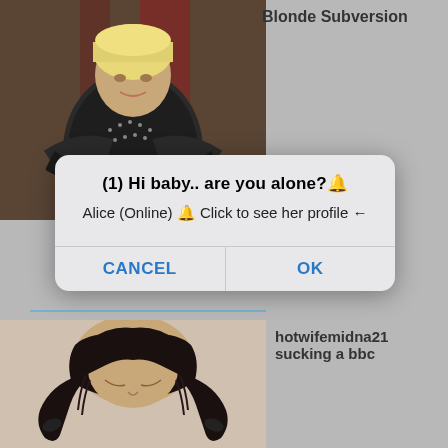[Figure (photo): Person with blonde hair wearing dark studded jacket, posing indoors]
Blonde Subversion
[Figure (screenshot): Mobile dialog box with message: (1) Hi baby.. are you alone?🔔 Alice (Online) 🔔 Click to see her profile ← with CANCEL and OK buttons]
[Figure (photo): Person with dark hair in pigtails, head bowed]
hotwifemidna21 sucking a bbc